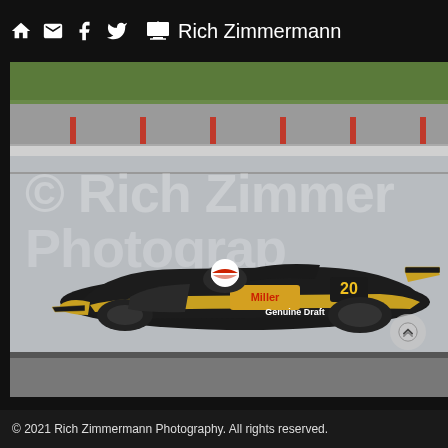Rich Zimmermann Photography - navigation header with home, email, facebook, twitter icons
[Figure (photo): An IndyCar racing car #20 with Miller Genuine Draft sponsorship livery (black and yellow colors) driving on a race track. The car has a driver in white helmet. The photo has a large watermark reading '© Rich Zimmermann Photography' overlaid across it. The track has concrete barriers, grandstands, and green grass visible in the background.]
© 2021 Rich Zimmermann Photography. All rights reserved.